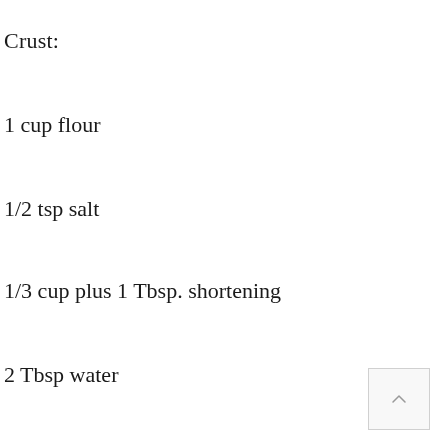Crust:
1 cup flour
1/2 tsp salt
1/3 cup plus 1 Tbsp. shortening
2 Tbsp water